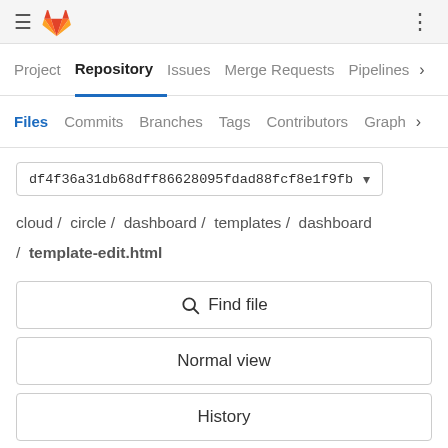≡ [GitLab logo] ⋮
Project  Repository  Issues  Merge Requests  Pipelines >
Files  Commits  Branches  Tags  Contributors  Graph >
df4f36a31db68dff86628095fdad88fcf8e1f9fb ▾
cloud / circle / dashboard / templates / dashboard / template-edit.html
🔍 Find file
Normal view
History
Permalink